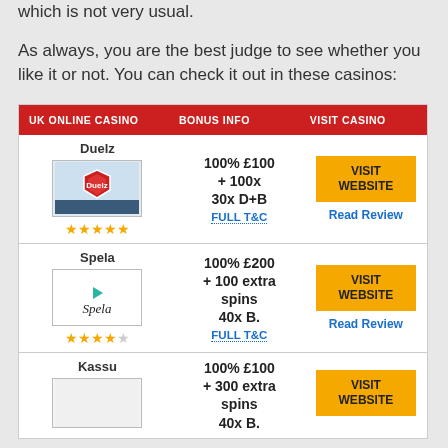which is not very usual.
As always, you are the best judge to see whether you like it or not. You can check it out in these casinos:
| UK ONLINE CASINO | BONUS INFO | VISIT CASINO |
| --- | --- | --- |
| Duelz ★★★★★ | 100% £100 + 100x 30x D+B FULL T&C | VISIT WEBSITE / Read Review |
| Spela ★★★★☆ | 100% £200 + 100 extra spins 40x B. FULL T&C | VISIT WEBSITE / Read Review |
| Kassu | 100% £100 + 300 extra spins 40x B. | VISIT WEBSITE |